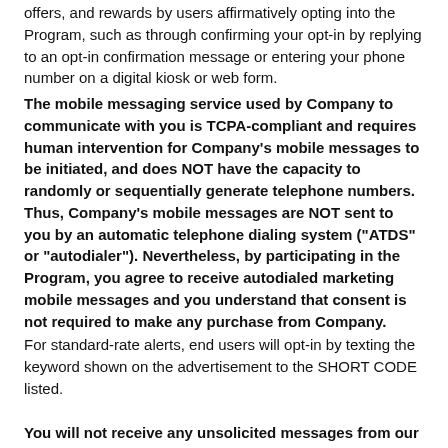offers, and rewards by users affirmatively opting into the Program, such as through confirming your opt-in by replying to an opt-in confirmation message or entering your phone number on a digital kiosk or web form.
The mobile messaging service used by Company to communicate with you is TCPA-compliant and requires human intervention for Company's mobile messages to be initiated, and does NOT have the capacity to randomly or sequentially generate telephone numbers. Thus, Company's mobile messages are NOT sent to you by an automatic telephone dialing system ("ATDS" or "autodialer"). Nevertheless, by participating in the Program, you agree to receive autodialed marketing mobile messages and you understand that consent is not required to make any purchase from Company.
For standard-rate alerts, end users will opt-in by texting the keyword shown on the advertisement to the SHORT CODE listed.
You will not receive any unsolicited messages from our short codes.